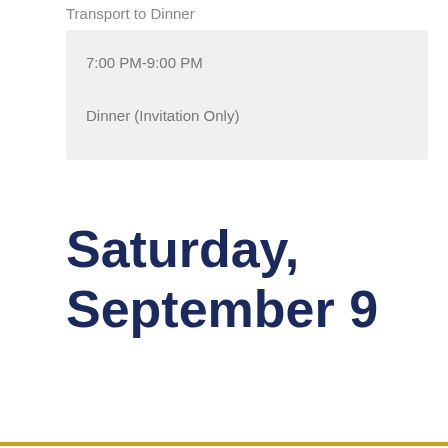Transport to Dinner
7:00 PM-9:00 PM
Dinner (Invitation Only)
Saturday, September 9